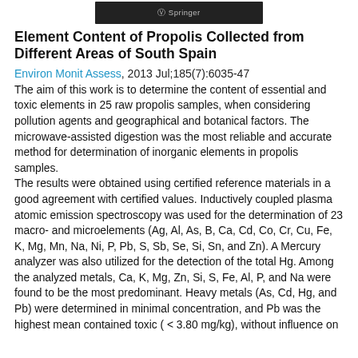[Figure (logo): Springer publisher logo on dark background]
Element Content of Propolis Collected from Different Areas of South Spain
Environ Monit Assess, 2013 Jul;185(7):6035-47
The aim of this work is to determine the content of essential and toxic elements in 25 raw propolis samples, when considering pollution agents and geographical and botanical factors. The microwave-assisted digestion was the most reliable and accurate method for determination of inorganic elements in propolis samples. The results were obtained using certified reference materials in a good agreement with certified values. Inductively coupled plasma atomic emission spectroscopy was used for the determination of 23 macro- and microelements (Ag, Al, As, B, Ca, Cd, Co, Cr, Cu, Fe, K, Mg, Mn, Na, Ni, P, Pb, S, Sb, Se, Si, Sn, and Zn). A Mercury analyzer was also utilized for the detection of the total Hg. Among the analyzed metals, Ca, K, Mg, Zn, Si, S, Fe, Al, P, and Na were found to be the most predominant. Heavy metals (As, Cd, Hg, and Pb) were determined in minimal concentration, and Pb was the highest mean contained toxic ( < 3.80 mg/kg), without influence on